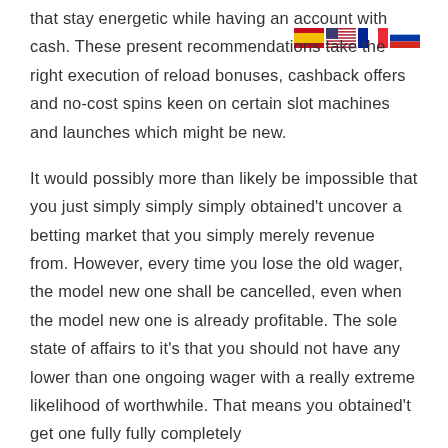[Figure (other): Row of four country flag icons (Spain, USA, France, Russia) positioned top-right]
that stay energetic while having an account with cash. These present recommendations take the right execution of reload bonuses, cashback offers and no-cost spins keen on certain slot machines and launches which might be new.
It would possibly more than likely be impossible that you just simply simply simply obtained't uncover a betting market that you simply merely revenue from. However, every time you lose the old wager, the model new one shall be cancelled, even when the model new one is already profitable. The sole state of affairs to it's that you should not have any lower than one ongoing wager with a really extreme likelihood of worthwhile. That means you obtained't get one fully fully completely